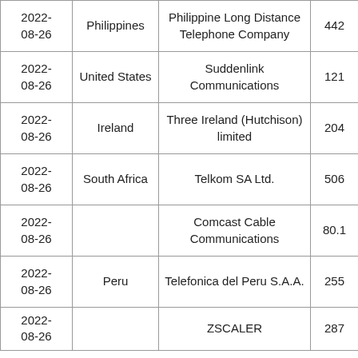| Date | Country | Organization | Value |  |
| --- | --- | --- | --- | --- |
| 2022-08-26 | Philippines | Philippine Long Distance Telephone Company | 442 |  |
| 2022-08-26 | United States | Suddenlink Communications | 121 |  |
| 2022-08-26 | Ireland | Three Ireland (Hutchison) limited | 204 |  |
| 2022-08-26 | South Africa | Telkom SA Ltd. | 506 |  |
| 2022-08-26 |  | Comcast Cable Communications | 80.1 |  |
| 2022-08-26 | Peru | Telefonica del Peru S.A.A. | 255 |  |
| 2022-08-26 |  | ZSCALER | 287 |  |